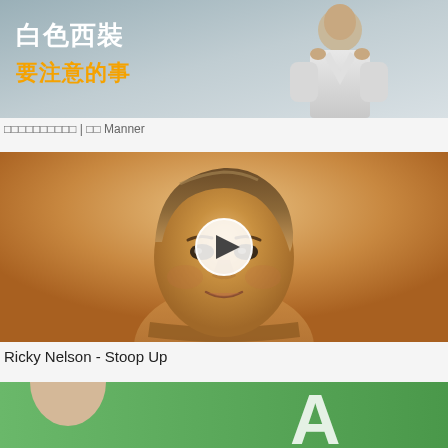[Figure (photo): Article thumbnail showing a man adjusting a white suit collar, with Chinese text overlay: 白色西裝 要注意的事 (Things to note about white suits)]
□□□□□□□□□□ | □□ Manner
[Figure (photo): Video thumbnail of Ricky Nelson - a young man with styled hair against an orange/sepia background, with a white circular play button overlay in the center]
Ricky Nelson - Stoop Up
[Figure (photo): Bottom thumbnail partially visible showing a person against a green background with partial white text 'A']